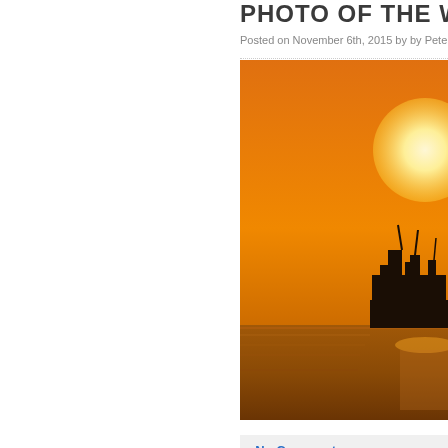PHOTO OF THE WEE...
Posted on November 6th, 2015 by by Pete
[Figure (photo): A silhouette of an offshore oil platform or industrial pier structure against a vivid orange sunset sky over calm water, with a large bright sun visible in the upper right.]
» No Comments